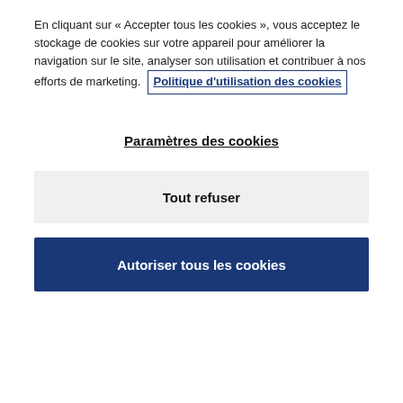En cliquant sur « Accepter tous les cookies », vous acceptez le stockage de cookies sur votre appareil pour améliorer la navigation sur le site, analyser son utilisation et contribuer à nos efforts de marketing. Politique d'utilisation des cookies
Paramètres des cookies
Tout refuser
Autoriser tous les cookies
safer solid-liquid separation systems here
[Figure (photo): tailing ponds image placeholder]